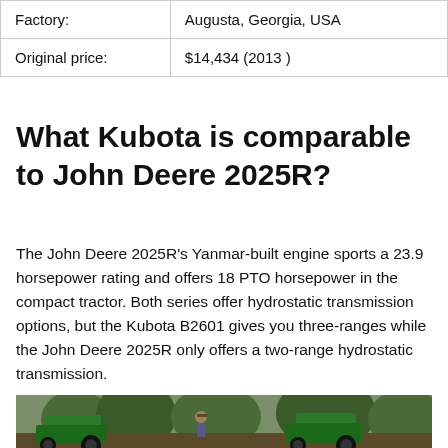|  |  |
| --- | --- |
| Factory: | Augusta, Georgia, USA |
| Original price: | $14,434 (2013 ) |
What Kubota is comparable to John Deere 2025R?
The John Deere 2025R's Yanmar-built engine sports a 23.9 horsepower rating and offers 18 PTO horsepower in the compact tractor. Both series offer hydrostatic transmission options, but the Kubota B2601 gives you three-ranges while the John Deere 2025R only offers a two-range hydrostatic transmission.
[Figure (photo): Photo of a person operating or standing near green John Deere tractors outdoors]